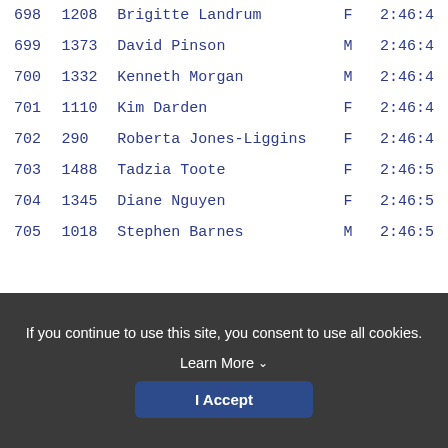| Rank | Bib | Name | Sex | Time |
| --- | --- | --- | --- | --- |
| 698 | 1208 | Brigitte Landrum | F | 2:46:4... |
| 699 | 1373 | David Pinson | M | 2:46:4... |
| 700 | 1332 | Kenneth Morgan | M | 2:46:4... |
| 701 | 1110 | Kim Darden | F | 2:46:4... |
| 702 | 290 | Roberta Jones-Liggins | F | 2:46:4... |
| 703 | 1488 | Tadzia Toote | F | 2:46:5... |
| 704 | 1345 | Diane Nguyen | F | 2:46:5... |
| 705 | 1018 | Stephen Barnes | M | 2:46:5... |
If you continue to use this site, you consent to use all cookies. Learn More
I Accept